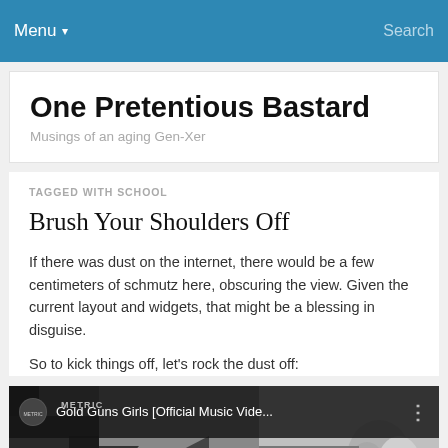Menu ▾   Search
One Pretentious Bastard
Musings of an aging Gen-Xer
TAGGED WITH SCHOOL
Brush Your Shoulders Off
If there was dust on the internet, there would be a few centimeters of schmutz here, obscuring the view. Given the current layout and widgets, that might be a blessing in disguise.
So to kick things off, let's rock the dust off:
[Figure (screenshot): YouTube video thumbnail for 'Gold Guns Girls [Official Music Vide...' by Metric, showing a black and white image with a person in the lower right]